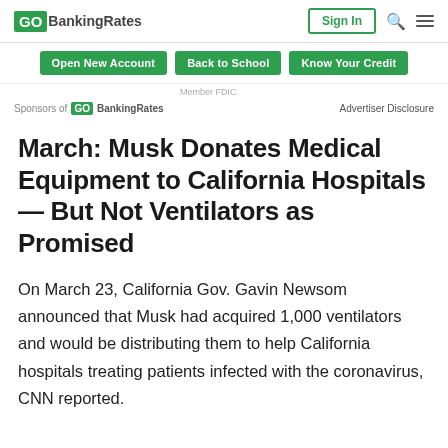GOBankingRates | Sign In
Open New Account  Back to School  Know Your Credit
Member FDIC.
Sponsors of GOBankingRates   Advertiser Disclosure
March: Musk Donates Medical Equipment to California Hospitals — But Not Ventilators as Promised
On March 23, California Gov. Gavin Newsom announced that Musk had acquired 1,000 ventilators and would be distributing them to help California hospitals treating patients infected with the coronavirus, CNN reported.